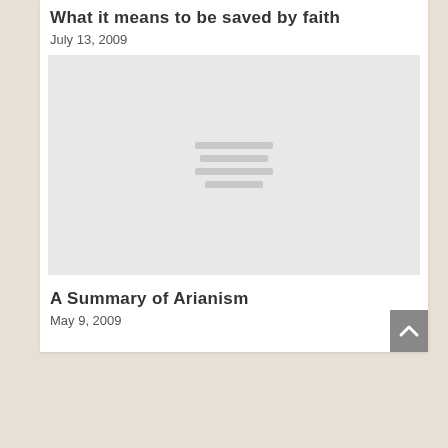What it means to be saved by faith
July 13, 2009
[Figure (illustration): Gray placeholder image with three horizontal lines in the center]
A Summary of Arianism
May 9, 2009